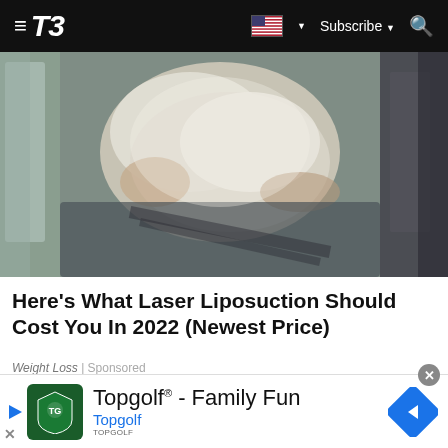T3 — Subscribe
[Figure (photo): Blurry photo of a person in what appears to be a vehicle interior, wearing white clothing, background blurred]
Here's What Laser Liposuction Should Cost You In 2022 (Newest Price)
Weight Loss | Sponsored
[Figure (other): Topgolf advertisement banner: Topgolf® - Family Fun, with Topgolf logo and navigation arrow icon]